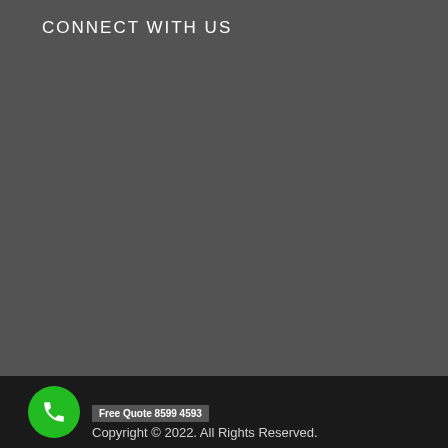CONNECT WITH US
Free Quote 8599 4593
Copyright © 2022. All Rights Reserved.